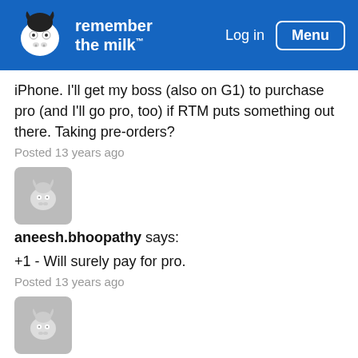[Figure (logo): Remember The Milk logo with cow icon and navigation bar]
iPhone. I'll get my boss (also on G1) to purchase pro (and I'll go pro, too) if RTM puts something out there. Taking pre-orders?
Posted 13 years ago
[Figure (photo): User avatar placeholder - grey cow icon]
aneesh.bhoopathy says:
+1 - Will surely pay for pro.
Posted 13 years ago
[Figure (photo): User avatar placeholder - grey cow icon]
gte619n says: